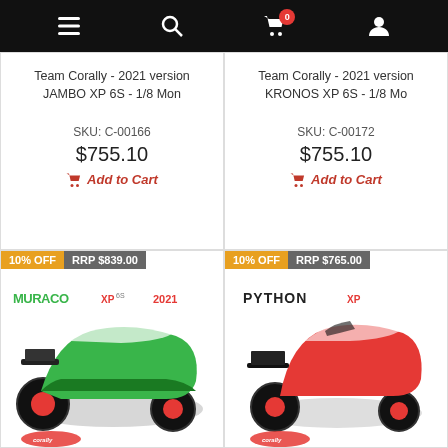Navigation bar with menu, search, cart (0 items), and user icons
Team Corally - 2021 version JAMBO XP 6S - 1/8 Mon
SKU: C-00166
$755.10
Add to Cart
Team Corally - 2021 version KRONOS XP 6S - 1/8 Mo
SKU: C-00172
$755.10
Add to Cart
[Figure (photo): RC car product image - Muraco XP 6S 2021, green/white/black color scheme, Team Corally logo, with 10% OFF badge and RRP $839.00]
[Figure (photo): RC car product image - Python XP, red/white/black color scheme, Team Corally logo, with 10% OFF badge and RRP $765.00]